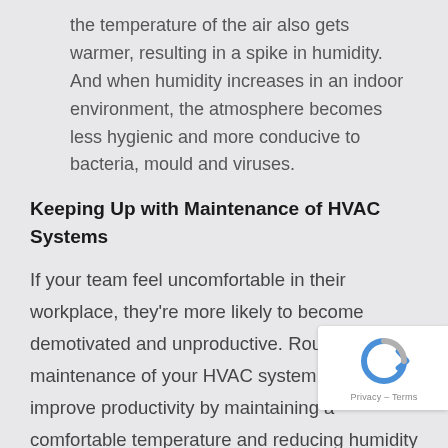the temperature of the air also gets warmer, resulting in a spike in humidity. And when humidity increases in an indoor environment, the atmosphere becomes less hygienic and more conducive to bacteria, mould and viruses.
Keeping Up with Maintenance of HVAC Systems
If your team feel uncomfortable in their workplace, they're more likely to become demotivated and unproductive. Routine maintenance of your HVAC system can help improve productivity by maintaining a comfortable temperature and reducing humidity – particularly in winter.
[Figure (logo): reCAPTCHA badge with circular arrow icon and Privacy – Terms text]